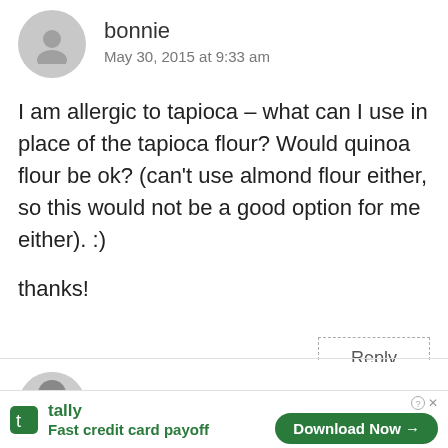bonnie
May 30, 2015 at 9:33 am
I am allergic to tapioca – what can I use in place of the tapioca flour? Would quinoa flour be ok? (can't use almond flour either, so this would not be a good option for me either). :)

thanks!
Reply
George Bryant
tally Fast credit card payoff Download Now →